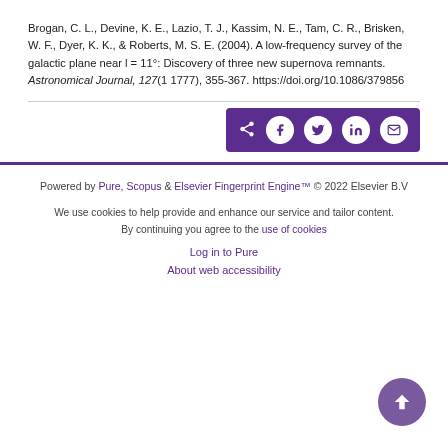Brogan, C. L., Devine, K. E., Lazio, T. J., Kassim, N. E., Tam, C. R., Brisken, W. F., Dyer, K. K., & Roberts, M. S. E. (2004). A low-frequency survey of the galactic plane near l = 11°: Discovery of three new supernova remnants. Astronomical Journal, 127(1 1777), 355-367. https://doi.org/10.1086/379856
[Figure (other): Share bar with social media icons: share, Facebook, Twitter, LinkedIn, email on purple background]
Powered by Pure, Scopus & Elsevier Fingerprint Engine™ © 2022 Elsevier B.V
We use cookies to help provide and enhance our service and tailor content. By continuing you agree to the use of cookies
Log in to Pure
About web accessibility